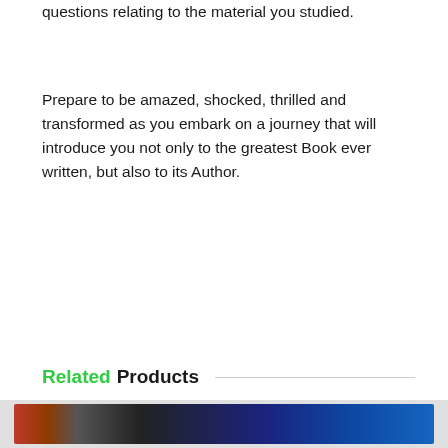questions relating to the material you studied.
Prepare to be amazed, shocked, thrilled and transformed as you embark on a journey that will introduce you not only to the greatest Book ever written, but also to its Author.
Related Products
[Figure (photo): Bottom image strip showing book product thumbnails]